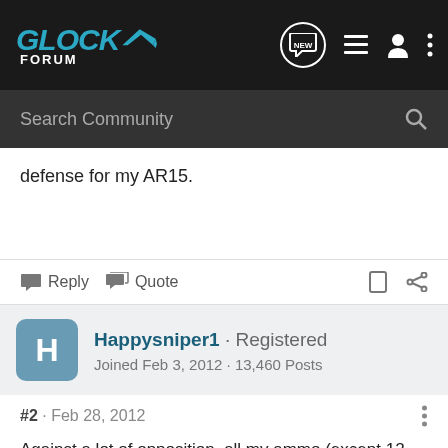[Figure (screenshot): Glock Forum website navigation bar with logo, NEW bubble, list icon, user icon, and three-dot menu]
Search Community
defense for my AR15.
Reply   Quote
Happysniper1 · Registered
Joined Feb 3, 2012 · 13,460 Posts
#2 · Feb 28, 2012
Against a lot of opposition, all my ammo (except 12-ga and .22LR) is handloaded, even my defensive rounds.